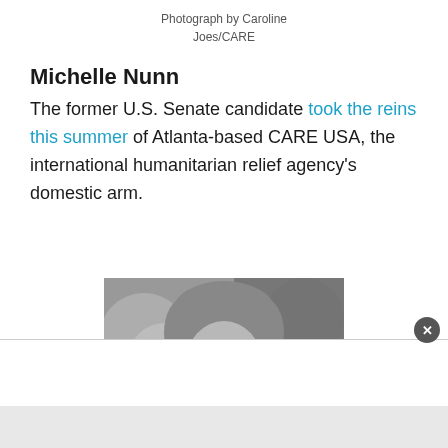Photograph by Caroline Joes/CARE
Michelle Nunn
The former U.S. Senate candidate took the reins this summer of Atlanta-based CARE USA, the international humanitarian relief agency's domestic arm.
[Figure (photo): Black and white photograph of Michelle Nunn, cropped showing head and upper shoulders, with blurred background]